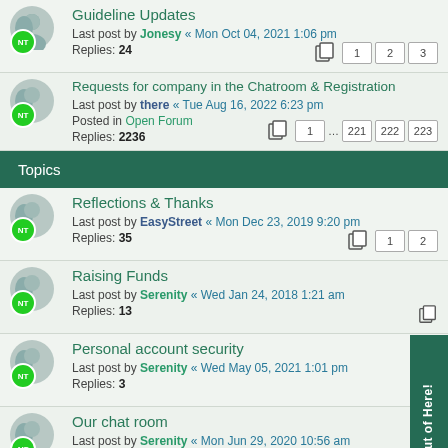Guideline Updates — Last post by Jonesy « Mon Oct 04, 2021 1:06 pm — Replies: 24 — Pages: 1 2 3
Requests for company in the Chatroom & Registration — Last post by there « Tue Aug 16, 2022 6:23 pm — Posted in Open Forum — Replies: 2236 — Pages: 1 ... 221 222 223
Topics
Reflections & Thanks — Last post by EasyStreet « Mon Dec 23, 2019 9:20 pm — Replies: 35 — Pages: 1 2
Raising Funds — Last post by Serenity « Wed Jan 24, 2018 1:21 am — Replies: 13
Personal account security — Last post by Serenity « Wed May 05, 2021 1:01 pm — Replies: 3
Our chat room — Last post by Serenity « Mon Jun 29, 2020 10:56 am — Replies: 1